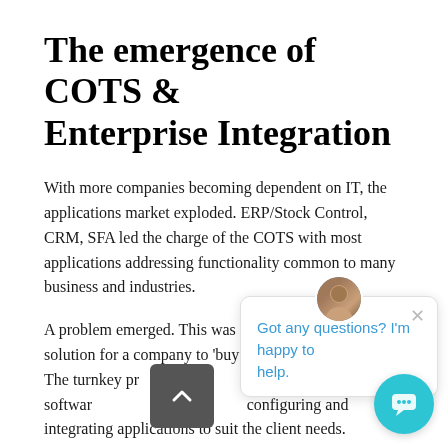The emergence of COTS & Enterprise Integration
With more companies becoming dependent on IT, the applications market exploded. ERP/Stock Control, CRM, SFA led the charge of the COTS with most applications addressing functionality common to many business and industries.
A problem emerged. This was no longer a turnkey solution for a company to 'buy off the shelf in pieces'. The turnkey problem shifted from developers of software to systems integrators configuring and integrating applications to suit the client needs.